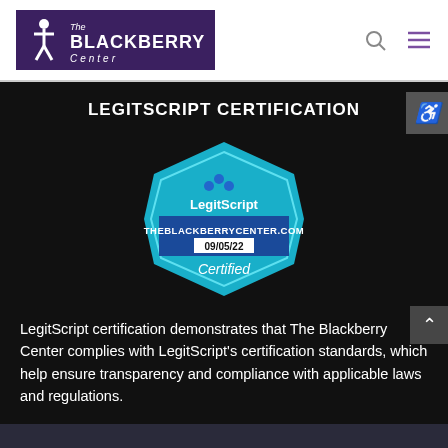[Figure (logo): The Blackberry Center logo with purple background, person icon, and text]
LEGITSCRIPT CERTIFICATION
[Figure (illustration): LegitScript certification badge for THEBLACKBERRYCENTER.COM dated 09/05/22, teal/cyan colored hexagonal badge shape with Certified text]
LegitScript certification demonstrates that The Blackberry Center complies with LegitScript's certification standards, which help ensure transparency and compliance with applicable laws and regulations.
ADMISSIONS | DIRECTIONS